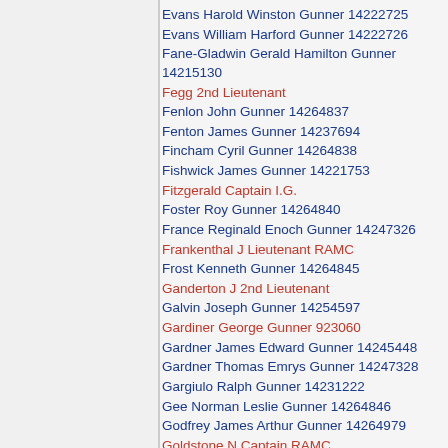Evans Harold Winston Gunner 14222725
Evans William Harford Gunner 14222726
Fane-Gladwin Gerald Hamilton Gunner 14215130
Fegg 2nd Lieutenant
Fenlon John Gunner 14264837
Fenton James Gunner 14237694
Fincham Cyril Gunner 14264838
Fishwick James Gunner 14221753
Fitzgerald Captain I.G.
Foster Roy Gunner 14264840
France Reginald Enoch Gunner 14247326
Frankenthal J Lieutenant RAMC
Frost Kenneth Gunner 14264845
Ganderton J 2nd Lieutenant
Galvin Joseph Gunner 14254597
Gardiner George Gunner 923060
Gardner James Edward Gunner 14245448
Gardner Thomas Emrys Gunner 14247328
Gargiulo Ralph Gunner 14231222
Gee Norman Leslie Gunner 14264846
Godfrey James Arthur Gunner 14264979
Goldstone N Captain RAMC